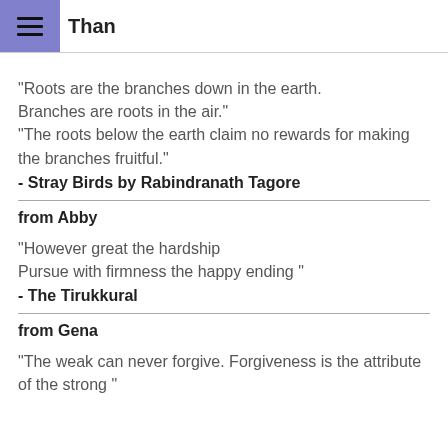Than
"Roots are the branches down in the earth. Branches are roots in the air."
"The roots below the earth claim no rewards for making the branches fruitful."
- Stray Birds by Rabindranath Tagore
from Abby
"However great the hardship
Pursue with firmness the happy ending "
- The Tirukkural
from Gena
"The weak can never forgive. Forgiveness is the attribute of the strong "